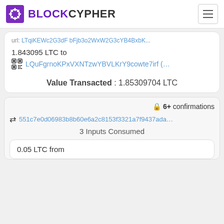BLOCKCYPHER
LTqiKEWc2G3dF bFjb3o2WxW2G3cYB4BxbK...
1.843095 LTC to LQuFgrnoKPxVXNTzwYBVLKrY9cowte7irf (...
Value Transacted : 1.85309704 LTC
6+ confirmations
551c7e0d06983b8b60e6a2c8153f3321a7f9437ada...
3 Inputs Consumed
0.05 LTC from